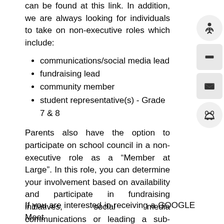can be found at this link. In addition, we are always looking for individuals to take on non-executive roles which include:
communications/social media lead
fundraising lead
community member
student representative(s) - Grade 7 & 8
Parents also have the option to participate on school council in a non-executive role as a “Member at Large”. In this role, you can determine your involvement based on availability and participate in fundraising initiatives, social media communications or leading a sub-committee. Whether you can volunteer for an hour to help with preparations, or for an entire event, Summerside Council can use your help!
If you are interested in receiving a GOOGLE Meet